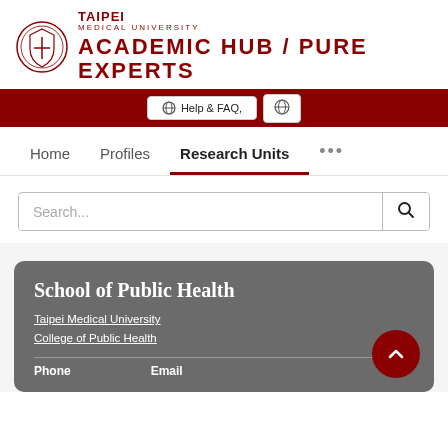[Figure (logo): Taipei Medical University shield logo and wordmark: TAIPEI MEDICAL UNIVERSITY ACADEMIC HUB / PURE EXPERTS]
Help & FAQ,
Home   Profiles   Research Units   ...
Search...
School of Public Health
Taipei Medical University
College of Public Health
Phone
Email